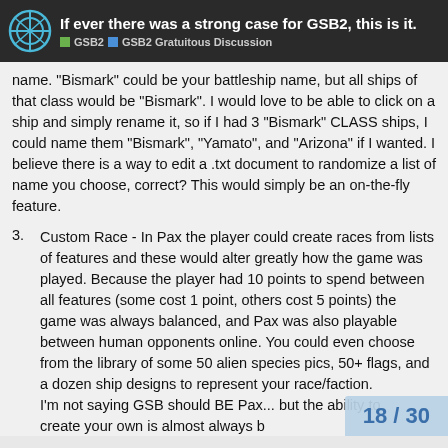If ever there was a strong case for GSB2, this is it. | GSB2 | GSB2 Gratuitous Discussion
name. "Bismark" could be your battleship name, but all ships of that class would be "Bismark". I would love to be able to click on a ship and simply rename it, so if I had 3 "Bismark" CLASS ships, I could name them "Bismark", "Yamato", and "Arizona" if I wanted. I believe there is a way to edit a .txt document to randomize a list of name you choose, correct? This would simply be an on-the-fly feature.
3. Custom Race - In Pax the player could create races from lists of features and these would alter greatly how the game was played. Because the player had 10 points to spend between all features (some cost 1 point, others cost 5 points) the game was always balanced, and Pax was also playable between human opponents online. You could even choose from the library of some 50 alien species pics, 50+ flags, and a dozen ship designs to represent yo... I'm not saying GSB should BE Pax... create your own is almost always b...
18 / 30